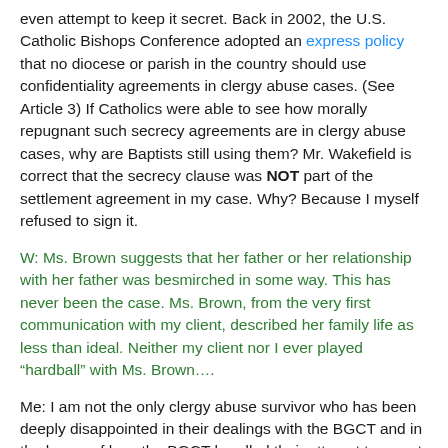even attempt to keep it secret. Back in 2002, the U.S. Catholic Bishops Conference adopted an express policy that no diocese or parish in the country should use confidentiality agreements in clergy abuse cases. (See Article 3) If Catholics were able to see how morally repugnant such secrecy agreements are in clergy abuse cases, why are Baptists still using them? Mr. Wakefield is correct that the secrecy clause was NOT part of the settlement agreement in my case. Why? Because I myself refused to sign it.
W: Ms. Brown suggests that her father or her relationship with her father was besmirched in some way. This has never been the case. Ms. Brown, from the very first communication with my client, described her family life as less than ideal. Neither my client nor I ever played “hardball” with Ms. Brown….
Me: I am not the only clergy abuse survivor who has been deeply disappointed in their dealings with the BGCT and in the horror of how the BGCT handled their attempt to report clergy abuse. (I know of a couple who had painful experiences with the BGCT over a decade ago, and I don’t